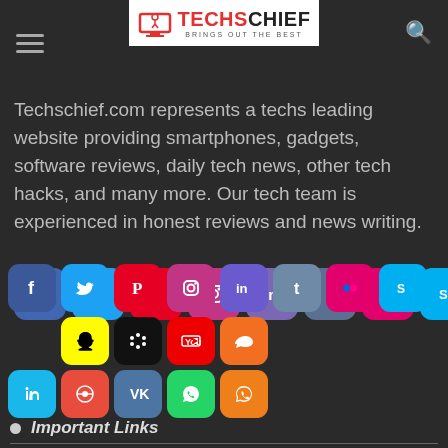TechsChief - Brings Out The Best
Techschief.com represents a techs leading website providing smartphones, gadgets, software reviews, daily tech news, other tech hacks, and many more. Our tech team is experienced in honest reviews and news writing.
[Figure (other): Grid of social media icon buttons: Facebook, Twitter, Pinterest, Instagram, LinkedIn, Tumblr, Flickr, Skype, Snapchat, Google+, YouTube, SoundCloud (row 1); Vimeo, Reddit, VK, WhatsApp, RSS (row 2)]
Important Links
About Techschief
Privacy Policy
Terms And Conditions